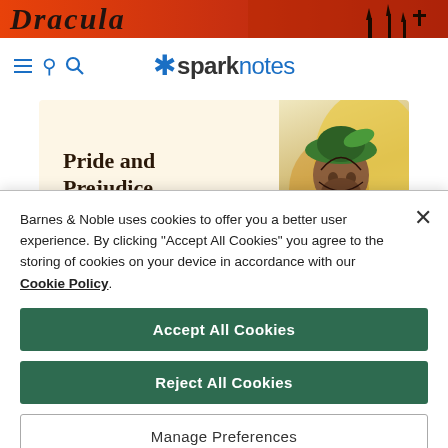[Figure (screenshot): Dracula banner header with orange-red gradient background and dark gothic title text]
* sparknotes
[Figure (illustration): Pride and Prejudice book promotional banner with illustrated figure wearing a green hat]
Barnes & Noble uses cookies to offer you a better user experience. By clicking "Accept All Cookies" you agree to the storing of cookies on your device in accordance with our Cookie Policy.
Accept All Cookies
Reject All Cookies
Manage Preferences